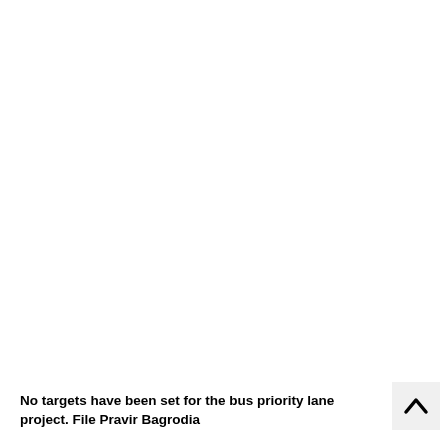No targets have been set for the bus priority lane project. File Pravir Bagrodia